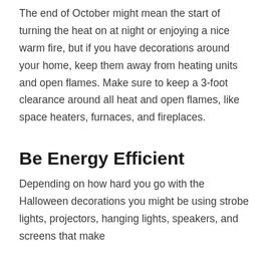The end of October might mean the start of turning the heat on at night or enjoying a nice warm fire, but if you have decorations around your home, keep them away from heating units and open flames. Make sure to keep a 3-foot clearance around all heat and open flames, like space heaters, furnaces, and fireplaces.
Be Energy Efficient
Depending on how hard you go with the Halloween decorations you might be using strobe lights, projectors, hanging lights, speakers, and screens that make